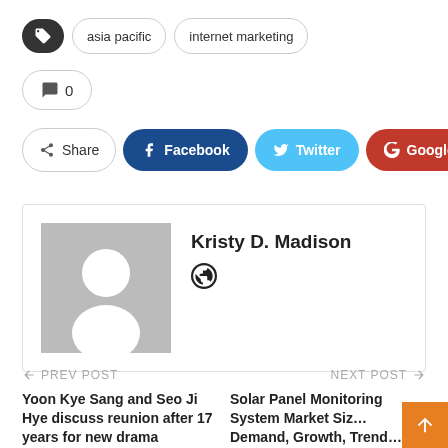asia pacific
internet marketing
0
Share Facebook Twitter Google+
Kristy D. Madison
← PREV POST
Yoon Kye Sang and Seo Ji Hye discuss reunion after 17 years for new drama soompi…
NEXT POST →
Solar Panel Monitoring System Market Siz… Demand, Growth, Trend… Segmentation and…